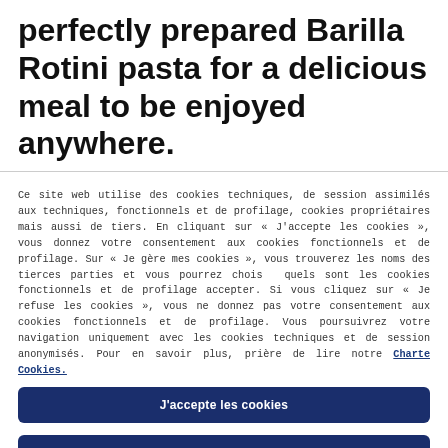perfectly prepared Barilla Rotini pasta for a delicious meal to be enjoyed anywhere.
Ce site web utilise des cookies techniques, de session assimilés aux techniques, fonctionnels et de profilage, cookies propriétaires mais aussi de tiers. En cliquant sur « J'accepte les cookies », vous donnez votre consentement aux cookies fonctionnels et de profilage. Sur « Je gère mes cookies », vous trouverez les noms des tierces parties et vous pourrez choisir quels sont les cookies fonctionnels et de profilage accepter. Si vous cliquez sur « Je refuse les cookies », vous ne donnez pas votre consentement aux cookies fonctionnels et de profilage. Vous poursuivrez votre navigation uniquement avec les cookies techniques et de session anonymisés. Pour en savoir plus, prière de lire notre Charte Cookies.
J'accepte les cookies
Je refuse les cookies
Je gère mes cookies